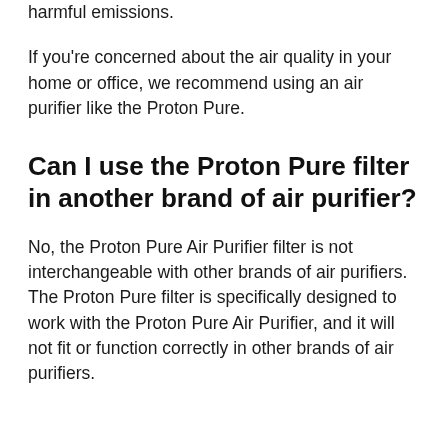harmful emissions.
If you're concerned about the air quality in your home or office, we recommend using an air purifier like the Proton Pure.
Can I use the Proton Pure filter in another brand of air purifier?
No, the Proton Pure Air Purifier filter is not interchangeable with other brands of air purifiers. The Proton Pure filter is specifically designed to work with the Proton Pure Air Purifier, and it will not fit or function correctly in other brands of air purifiers.